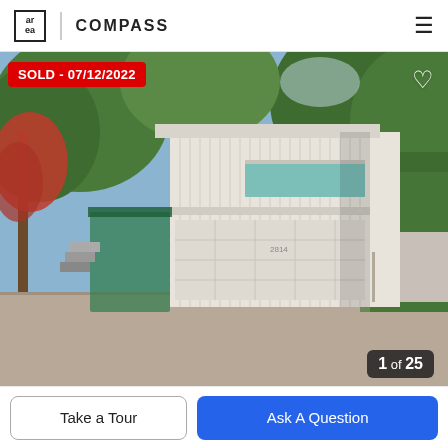area | COMPASS
[Figure (photo): Exterior photo of a mid-century modern white vertical-board house with a large garage door, surrounded by trees. Sold listing photo.]
SOLD - 07/12/2022
1 of 25
Take a Tour
Ask A Question